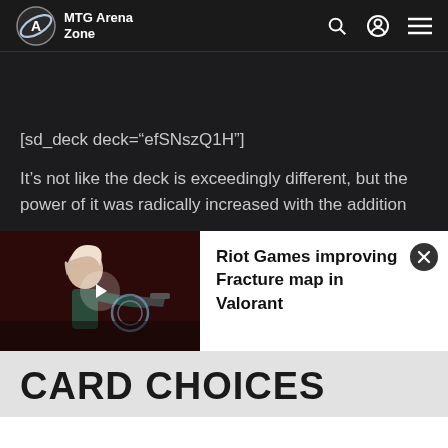MTG Arena Zone
[sd_deck deck="efSNszQ1H"]
It's not like the deck is exceedingly different, but the power of it was radically increased with the addition
[Figure (screenshot): Video thumbnail showing a Valorant game character, with a play button overlay. Alongside it is a white panel with text: 'Riot Games improving Fracture map in Valorant' and a close button.]
CARD CHOICES